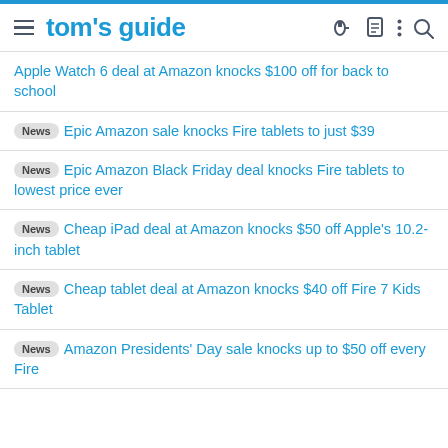tom's guide
Apple Watch 6 deal at Amazon knocks $100 off for back to school
News Epic Amazon sale knocks Fire tablets to just $39
News Epic Amazon Black Friday deal knocks Fire tablets to lowest price ever
News Cheap iPad deal at Amazon knocks $50 off Apple's 10.2-inch tablet
News Cheap tablet deal at Amazon knocks $40 off Fire 7 Kids Tablet
News Amazon Presidents' Day sale knocks up to $50 off every Fire